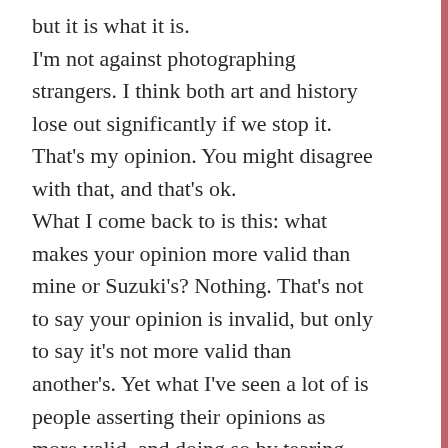but it is what it is. I'm not against photographing strangers. I think both art and history lose out significantly if we stop it. That's my opinion. You might disagree with that, and that's ok. What I come back to is this: what makes your opinion more valid than mine or Suzuki's? Nothing. That's not to say your opinion is invalid, but only to say it's not more valid than another's. Yet what I've seen a lot of is people asserting their opinions as more valid, and doing so by tearing down another. That's much worse than anything Suzuki has done, in my